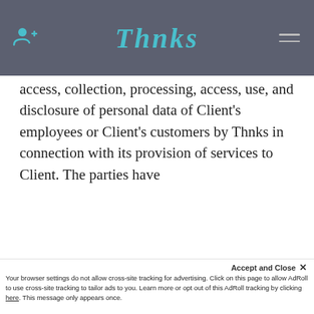THNKS
access, collection, processing, access, use, and disclosure of personal data of Client’s employees or Client’s customers by Thnks in connection with its provision of services to Client. The parties have
This website stores cookies on your computer. These cookies are used to collect information about how you interact with our website and allow us to remember you. We use this information in order to improve and customize your browsing experience and for analytics and metrics about our visitors both on this website and other media. To find out more about the cookies we use, see our Privacy Policy.
If you decline, your information won’t be tracked when you visit this website. A single cookie will be used in your browser to remember your preference not to be tracked.
Accept and Close × Your browser settings do not allow cross-site tracking for advertising. Click on this page to allow AdRoll to use cross-site tracking to tailor ads to you. Learn more or opt out of this AdRoll tracking by clicking here. This message only appears once.